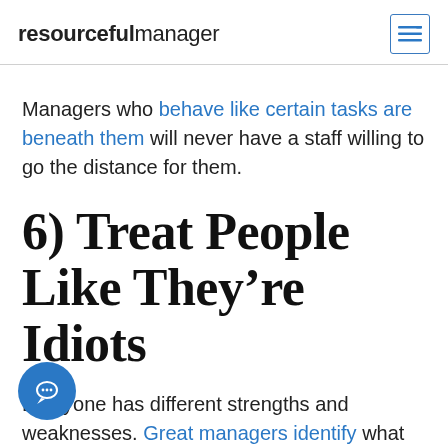resourcefulmanager
Managers who behave like certain tasks are beneath them will never have a staff willing to go the distance for them.
6) Treat People Like They're Idiots
Everyone has different strengths and weaknesses. Great managers identify what each person on their team brings to the table and capitalize on those strengths.